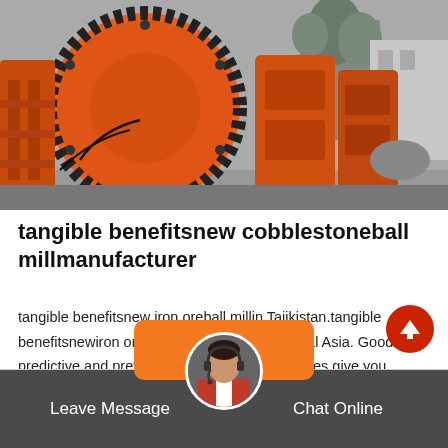[Figure (photo): Large orange industrial ball mill machine photographed outdoors against a grey sky with trees in the background]
tangible benefitsnew cobblestoneball millmanufacturer
tangible benefitsnew iron oreball millin Tajikistan.tangible benefitsnewiron oreball millin Tajikistan Central Asia. Good predictive and preventive maintenance practices give you Improved operator and equipment safety – Potential problems can be caugh…
Leave Message   Chat Online